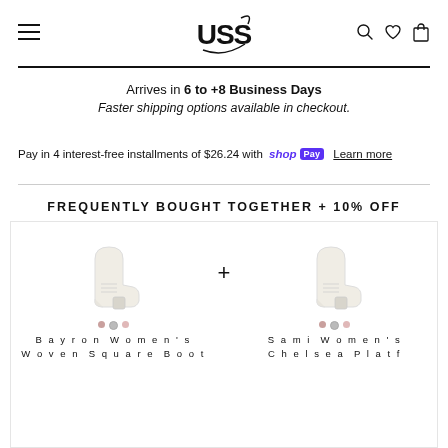[Figure (logo): USS brand logo in stylized script font]
Arrives in 6 to +8 Business Days
Faster shipping options available in checkout.
Pay in 4 interest-free installments of $26.24 with shop Pay  Learn more
FREQUENTLY BOUGHT TOGETHER + 10% OFF
[Figure (photo): Two women's boots side by side with a plus symbol between them. Left: Bayron Women's Woven Square Boot. Right: Sami Women's Chelsea Platform boot. Both are cream/off-white colored ankle boots.]
Bayron Women's
Woven Square Boot
Sami Women's
Chelsea Platform